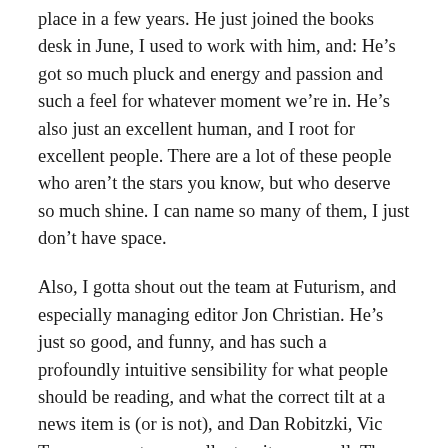place in a few years. He just joined the books desk in June, I used to work with him, and: He’s got so much pluck and energy and passion and such a feel for whatever moment we’re in. He’s also just an excellent human, and I root for excellent people. There are a lot of these people who aren’t the stars you know, but who deserve so much shine. I can name so many of them, I just don’t have space.
Also, I gotta shout out the team at Futurism, and especially managing editor Jon Christian. He’s just so good, and funny, and has such a profoundly intuitive sensibility for what people should be reading, and what the correct tilt at a news item is (or is not), and Dan Robitzki, Vic Tangermann, two excellent writers as well. Those three are a murderer’s row.